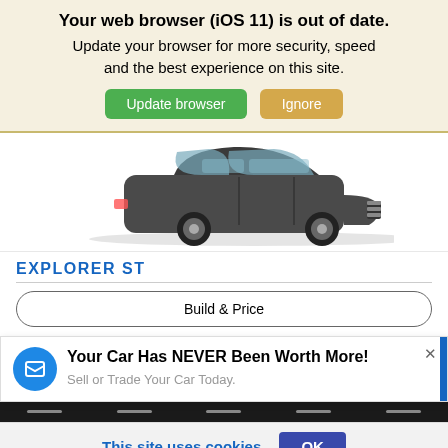Your web browser (iOS 11) is out of date. Update your browser for more security, speed and the best experience on this site.
Update browser | Ignore
[Figure (photo): Side view of a dark gray Ford Explorer ST SUV on white background]
EXPLORER ST
Build & Price
Your Car Has NEVER Been Worth More! Sell or Trade Your Car Today.
This site uses cookies.
OK